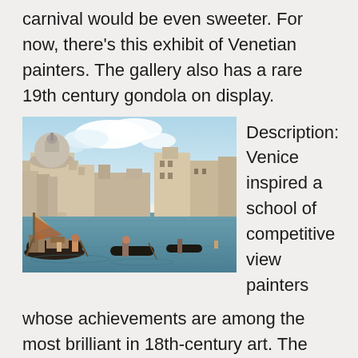carnival would be even sweeter. For now, there's this exhibit of Venetian painters. The gallery also has a rare 19th century gondola on display.
[Figure (photo): A painting of Venice showing the Grand Canal with gondolas and boats in the foreground, the dome of Santa Maria della Salute on the left, and tall buildings lining the canal under a partly cloudy sky.]
Description: Venice inspired a school of competitive view painters whose achievements are among the most brilliant in 18th-century art. The exhibition celebrates the rich variety of these Venetian views, known as vedute, through some 20 masterworks by Canaletto and more than 20 by his rivals, including Michele